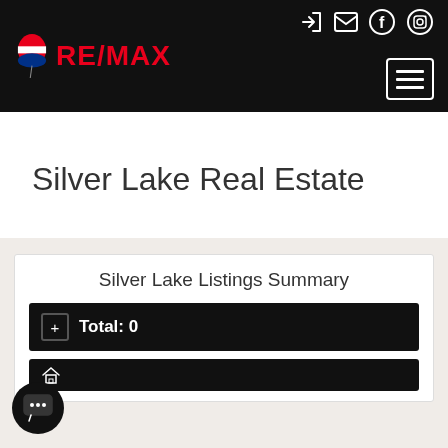RE/MAX — Navigation header with logo, icons, and menu button
Silver Lake Real Estate
Silver Lake Listings Summary
Total: 0